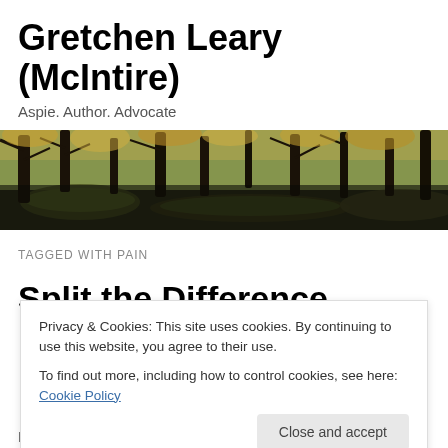Gretchen Leary (McIntire)
Aspie. Author. Advocate
[Figure (photo): Wide panoramic forest photo showing tree trunks, mossy rocks, and autumn foliage in a dark, shadowy forest scene]
TAGGED WITH PAIN
Split the Difference
Privacy & Cookies: This site uses cookies. By continuing to use this website, you agree to their use.
To find out more, including how to control cookies, see here: Cookie Policy
I'm still blown away about how agitating this has been. I've